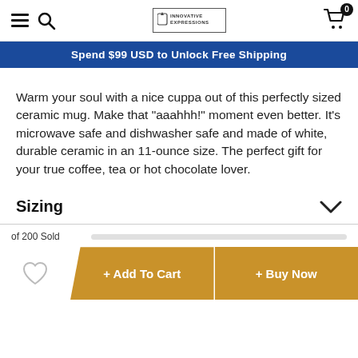Innovative Expressions — Shopping cart (0 items)
Spend $99 USD to Unlock Free Shipping
Warm your soul with a nice cuppa out of this perfectly sized ceramic mug. Make that "aaahhh!" moment even better. It's microwave safe and dishwasher safe and made of white, durable ceramic in an 11-ounce size. The perfect gift for your true coffee, tea or hot chocolate lover.
Sizing
of 200 Sold
+ Add To Cart
+ Buy Now